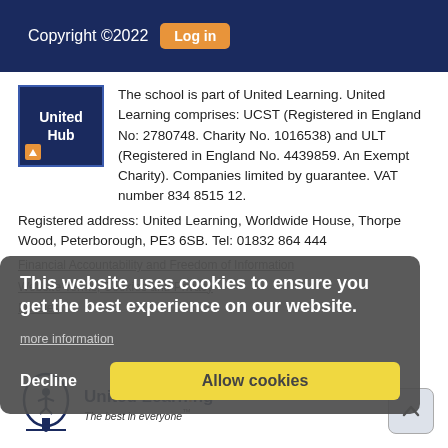Copyright ©2022  Log in
[Figure (logo): United Hub logo — dark navy square with white text 'United Hub']
The school is part of United Learning. United Learning comprises: UCST (Registered in England No: 2780748. Charity No. 1016538) and ULT (Registered in England No. 4439859. An Exempt Charity). Companies limited by guarantee. VAT number 834 8515 12.
Registered address: United Learning, Worldwide House, Thorpe Wood, Peterborough, PE3 6SB. Tel: 01832 864 444
Financial Accountability and Freedom of Information
Website Terms, Cookies and Privacy
Policies
This website uses cookies to ensure you get the best experience on our website.
more information
[Figure (logo): United Learning logo — tree icon with tagline 'The best in everyone']